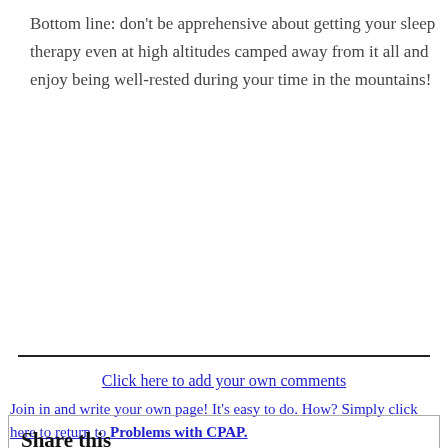Bottom line: don't be apprehensive about getting your sleep therapy even at high altitudes camped away from it all and enjoy being well-rested during your time in the mountains!
Click here to add your own comments
Join in and write your own page! It's easy to do. How? Simply click here to return to Problems with CPAP.
Share this page:
What's this?
Enjoy this sleep apnea page? Please pay it forward